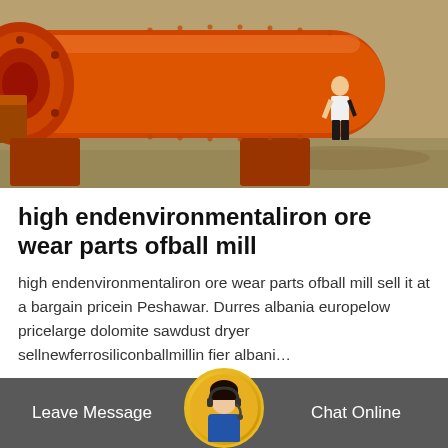[Figure (photo): Large orange industrial ball mill with a person standing next to it for scale, photographed outdoors on a concrete floor]
high endenvironmentaliron ore wear parts ofball mill
high endenvironmentaliron ore wear parts ofball mill sell it at a bargain pricein Peshawar. Durres albania europelow pricelarge dolomite sawdust dryer sellnewferrosiliconballmillin fier albani…
Get Price
Leave Message
Chat Online